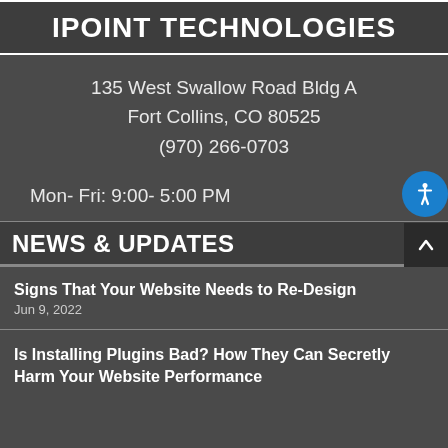IPOINT TECHNOLOGIES
135 West Swallow Road Bldg A
Fort Collins, CO 80525
(970) 266-0703
Mon- Fri: 9:00- 5:00 PM
NEWS & UPDATES
Signs That Your Website Needs to Re-Design
Jun 9, 2022
Is Installing Plugins Bad? How They Can Secretly Harm Your Website Performance